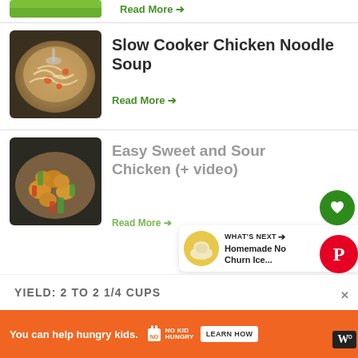[Figure (photo): Partial view of a food item (green vegetables) at the top of the page]
Read More →
[Figure (photo): Slow cooker chicken noodle soup in a dark crockpot with noodles, carrots, and chicken]
Slow Cooker Chicken Noodle Soup
Read More →
[Figure (photo): Easy sweet and sour chicken with vegetables in a dark pan]
Easy Sweet and Sour Chicken (+ video)
Read More →
WHAT'S NEXT → Homemade No Churn Ice...
YIELD: 2 TO 2 1/4 CUPS
You can help hungry kids.  NOKID HUNGRY  LEARN HOW